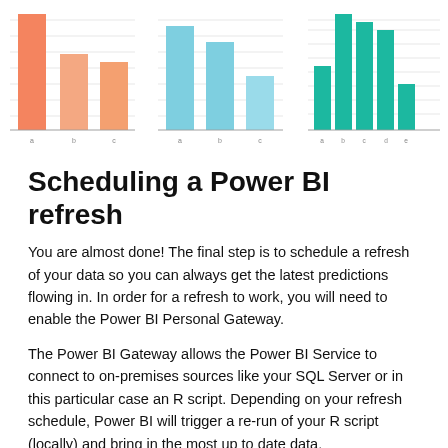[Figure (bar-chart): Three side-by-side bar charts with orange, light blue, and teal/green bars respectively, showing various bar heights with y-axis gridlines.]
Scheduling a Power BI refresh
You are almost done! The final step is to schedule a refresh of your data so you can always get the latest predictions flowing in. In order for a refresh to work, you will need to enable the Power BI Personal Gateway.
The Power BI Gateway allows the Power BI Service to connect to on-premises sources like your SQL Server or in this particular case an R script. Depending on your refresh schedule, Power BI will trigger a re-run of your R script (locally) and bring in the most up to date data.